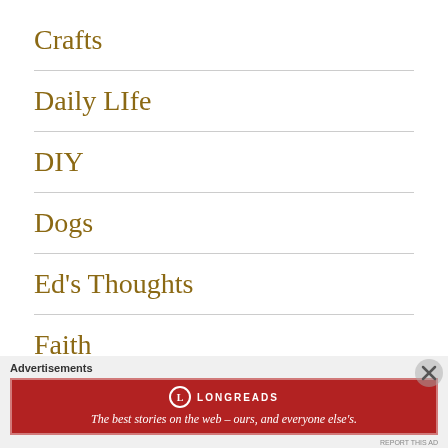Crafts
Daily LIfe
DIY
Dogs
Ed's Thoughts
Faith
Farm Chores
[Figure (infographic): Red advertisement banner for Longreads with tagline: The best stories on the web — ours, and everyone else's.]